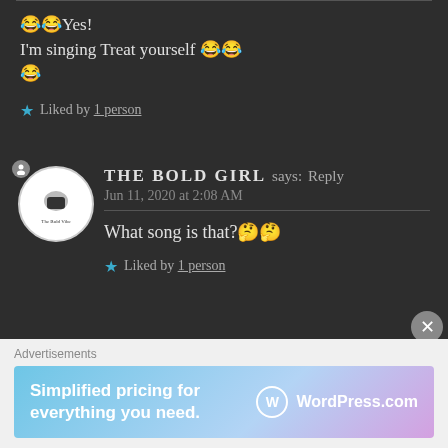😂😂Yes!
I'm singing Treat yourself 😂😂
😂
★ Liked by 1 person
THE BOLD GIRL says: Reply
Jun 11, 2020 at 2:08 AM
What song is that?🤔🤔
★ Liked by 1 person
[Figure (other): WordPress advertisement banner: Simplified pricing for everything you need. WordPress.com]
Advertisements